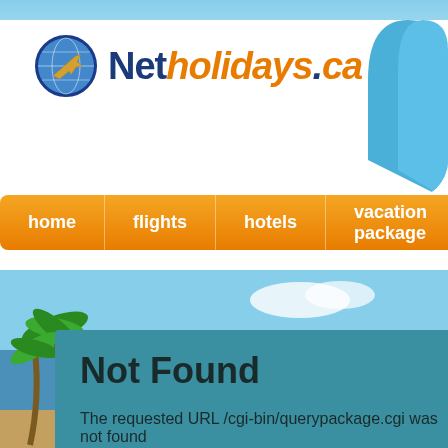[Figure (screenshot): Netholidays.ca website logo with globe and airplane icon, navy blue and orange color scheme]
home | flights | hotels | vacation package
[Figure (photo): Tropical beach scene with palm trees and blue sky]
Not Found
The requested URL /cgi-bin/querypackage.cgi was not found